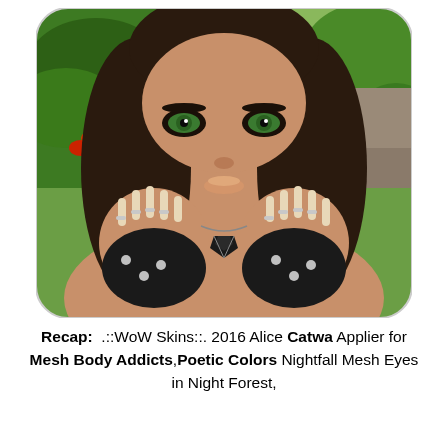[Figure (photo): A close-up screenshot of a Second Life virtual avatar female character with striking green eyes, long dark brown hair, heavy eye makeup, long nude-colored nails, silver rings on fingers, black fingerless studded gloves with zipper detail, and a black geometric necklace. Background shows tropical greenery. The image has rounded corners.]
Recap:  .::WoW Skins::. 2016 Alice Catwa Applier for Mesh Body Addicts,Poetic Colors Nightfall Mesh Eyes in Night Forest,